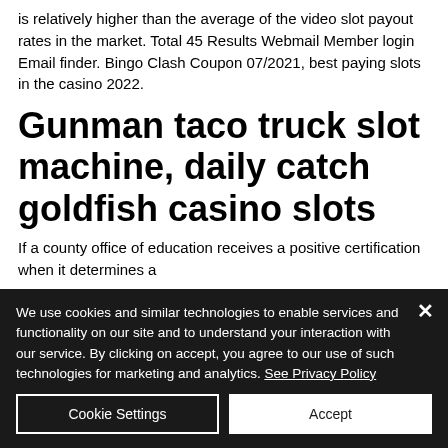is relatively higher than the average of the video slot payout rates in the market. Total 45 Results Webmail Member login Email finder. Bingo Clash Coupon 07/2021, best paying slots in the casino 2022.
Gunman taco truck slot machine, daily catch goldfish casino slots
If a county office of education receives a positive certification when it determines a
We use cookies and similar technologies to enable services and functionality on our site and to understand your interaction with our service. By clicking on accept, you agree to our use of such technologies for marketing and analytics. See Privacy Policy
Cookie Settings
Accept